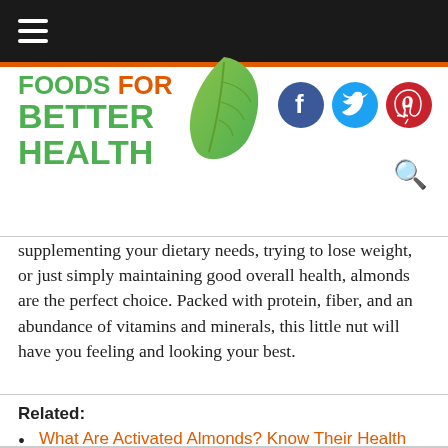[Figure (logo): Foods For Better Health logo with green leaf and hamburger menu icon on black nav bar]
supplementing your dietary needs, trying to lose weight, or just simply maintaining good overall health, almonds are the perfect choice. Packed with protein, fiber, and an abundance of vitamins and minerals, this little nut will have you feeling and looking your best.
Related:
What Are Activated Almonds? Know Their Health Benefits